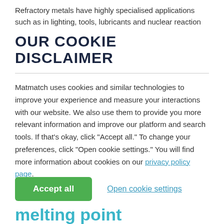Refractory metals have highly specialised applications such as in lighting, tools, lubricants and nuclear reaction
OUR COOKIE DISCLAIMER
Matmatch uses cookies and similar technologies to improve your experience and measure your interactions with our website. We also use them to provide you more relevant information and improve our platform and search tools. If that’s okay, click “Accept all.” To change your preferences, click “Open cookie settings.” You will find more information about cookies on our privacy policy page.
Accept all
Open cookie settings
melting point